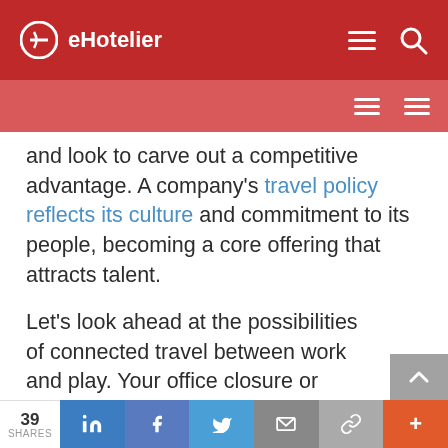eHotelier
and look to carve out a competitive advantage. A company’s travel policy reflects its culture and commitment to its people, becoming a core offering that attracts talent.
Let’s look ahead at the possibilities of connected travel between work and play. Your office closure or your planned time off is reflected on your
39 SHARES | in | f | Twitter | Email | link | +